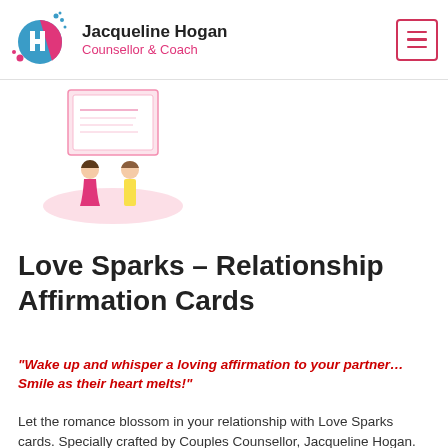Jacqueline Hogan Counsellor & Coach
[Figure (illustration): Illustrated product image showing Love Sparks affirmation cards with two figures sitting on a rug]
Love Sparks – Relationship Affirmation Cards
“Wake up and whisper a loving affirmation to your partner… Smile as their heart melts!”
Let the romance blossom in your relationship with Love Sparks cards. Specially crafted by Couples Counsellor, Jacqueline Hogan.